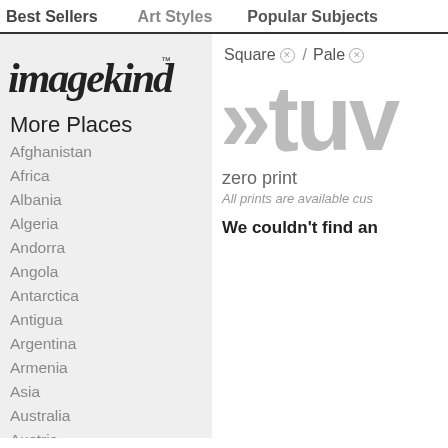Best Sellers   Art Styles   Popular Subjects
[Figure (logo): imagekind logo in cursive/handwritten style with trademark symbol]
More Places
Afghanistan
Africa
Albania
Algeria
Andorra
Angola
Antarctica
Antigua
Argentina
Armenia
Asia
Australia
Austria
Azerbaijan
Bahamas
Bahrain
Square ⊗ / Pale ⊗
»tuv
zero print
All prints are available cus
We couldn't find an